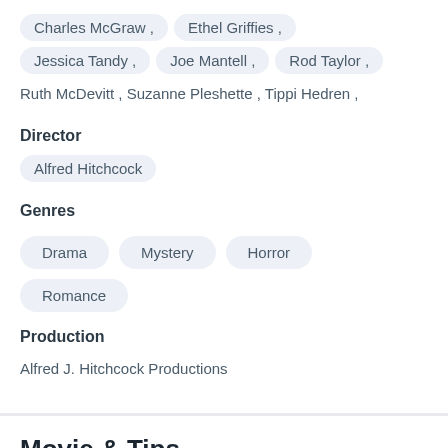Charles McGraw , Ethel Griffies , Jessica Tandy , Joe Mantell , Rod Taylor , Ruth McDevitt , Suzanne Pleshette , Tippi Hedren ,
Director
Alfred Hitchcock
Genres
Drama
Mystery
Horror
Romance
Production
Alfred J. Hitchcock Productions
Movie & Tips
You may have questions at